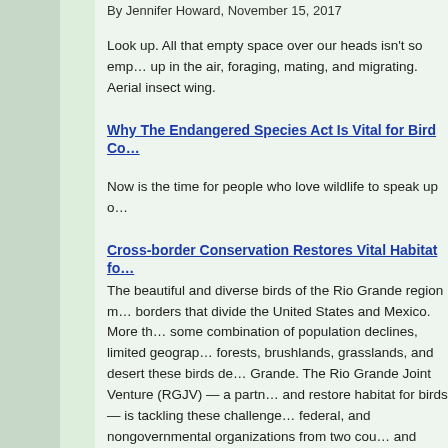By Jennifer Howard, November 15, 2017
Look up. All that empty space over our heads isn't so empty. up in the air, foraging, mating, and migrating. Aerial insect wing.
Why The Endangered Species Act Is Vital for Bird Co...
Now is the time for people who love wildlife to speak up o...
Cross-border Conservation Restores Vital Habitat fo...
The beautiful and diverse birds of the Rio Grande region m... borders that divide the United States and Mexico. More th... some combination of population declines, limited geograp... forests, brushlands, grasslands, and desert these birds de... Grande. The Rio Grande Joint Venture (RGJV) — a partn... and restore habitat for birds — is tackling these challenge... federal, and nongovernmental organizations from two cou... and Wildlife Service. Source: https://www.environmentgur... EnvironmentGuru.com
Stick Up For Local Birds By Taking This One Simple A...
As a partner member of the Allegheny Bird Conservation...